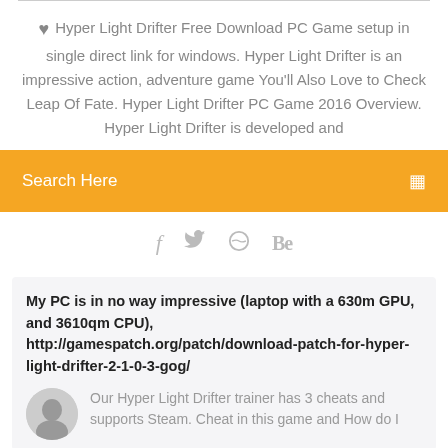Hyper Light Drifter Free Download PC Game setup in single direct link for windows. Hyper Light Drifter is an impressive action, adventure game You'll Also Love to Check Leap Of Fate. Hyper Light Drifter PC Game 2016 Overview. Hyper Light Drifter is developed and
[Figure (screenshot): Orange search bar with text 'Search Here' and a search icon on the right]
[Figure (infographic): Social media icons: Facebook (f), Twitter (bird), Dribbble (circle), Behance (Be)]
My PC is in no way impressive (laptop with a 630m GPU, and 3610qm CPU), http://gamespatch.org/patch/download-patch-for-hyper-light-drifter-2-1-0-3-gog/
Our Hyper Light Drifter trainer has 3 cheats and supports Steam. Cheat in this game and How do I